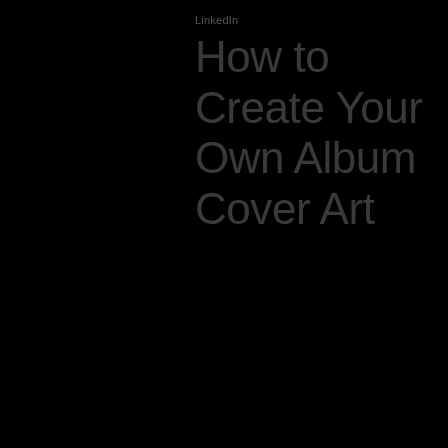LinkedIn
How to Create Your Own Album Cover Art